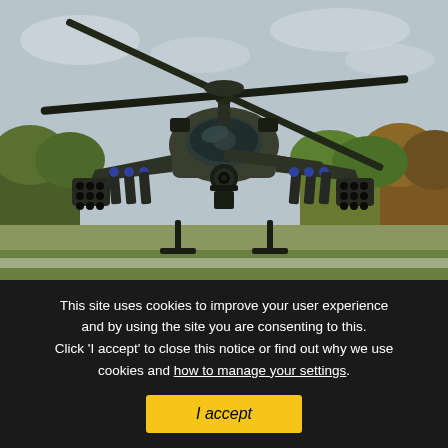[Figure (photo): Front-facing view of a military Apache attack helicopter hovering low above a grass airfield. The helicopter is armed with rocket pods and missiles on its stub wings. Background shows trees and a cloudy sky.]
This site uses cookies to improve your user experience and by using the site you are consenting to this. Click 'I accept' to close this notice or find out why we use cookies and how to manage your settings.
I accept